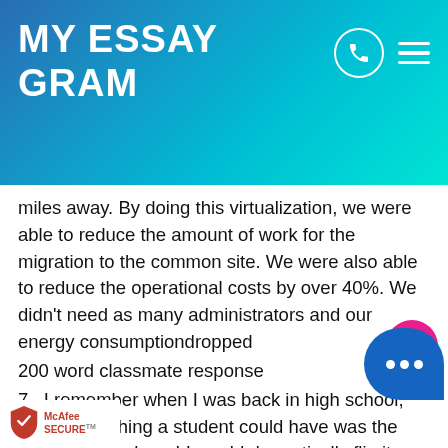MY ESSAY GRAM
miles away. By doing this virtualization, we were able to reduce the amount of work for the migration to the common site. We were also able to reduce the operational costs by over 40%. We didn't need as many administrators and our energy consumptiondropped
200 word classmate response
7.  I remember when I was back in high school, the coolest thing a student could have was the Motorola flip phone! I would dramatically flip it open when I would receive a text or call – keep in mind I also used T9 Word to text. Nowadays our younger generations don't go ANYWHERE without having their personal computers in their back pocket. With the Internet being so accessible, there also comes si... ity theft, fraudulent or unauthorized charg... cards from shopping online, spam related emails